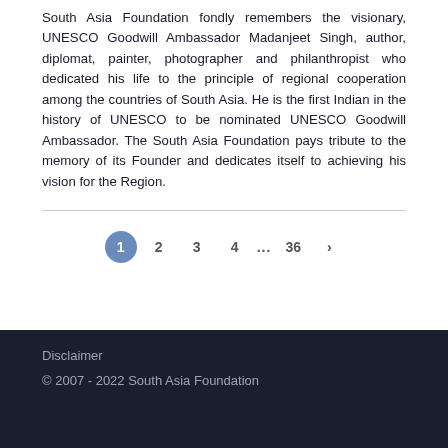South Asia Foundation fondly remembers the visionary, UNESCO Goodwill Ambassador Madanjeet Singh, author, diplomat, painter, photographer and philanthropist who dedicated his life to the principle of regional cooperation among the countries of South Asia. He is the first Indian in the history of UNESCO to be nominated UNESCO Goodwill Ambassador. The South Asia Foundation pays tribute to the memory of its Founder and dedicates itself to achieving his vision for the Region.
1 2 3 4 ... 36 >
Disclaimer
© 2007 - 2022 South Asia Foundation